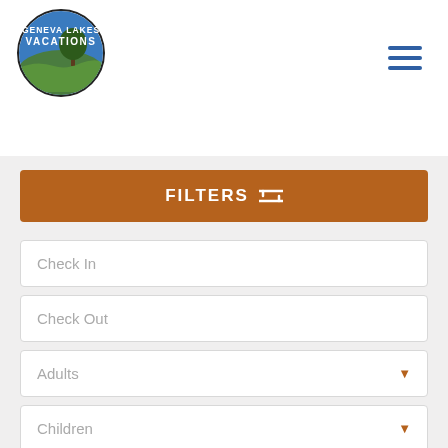[Figure (logo): Geneva Lakes Vacations circular logo with landscape illustration, blue and green colors, text reads GENEVA LAKES VACATIONS]
[Figure (other): Hamburger menu icon with three horizontal blue lines]
FILTERS
Check In
Check Out
Adults
Children
SEARCH